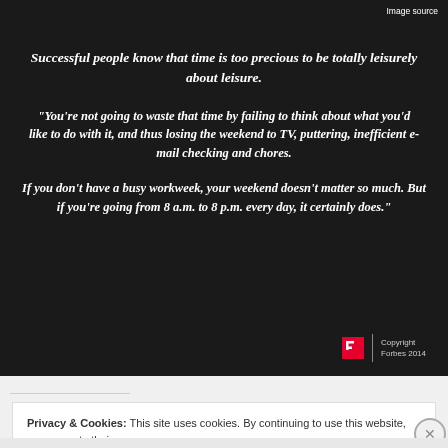[Figure (photo): Dark banner at top with partial image of group of people and 'Image source' text in top right corner]
Successful people know that time is too precious to be totally leisurely about leisure.
“You’re not going to waste that time by failing to think about what you’d like to do with it, and thus losing the weekend to TV, puttering, inefficient e-mail checking and chores.
If you don’t have a busy workweek, your weekend doesn’t matter so much. But if you’re going from 8 a.m. to 8 p.m. every day, it certainly does.”
Copyright Forbes 2014
Privacy & Cookies: This site uses cookies. By continuing to use this website, you agree to their use.
To find out more, including how to control cookies, see here: Cookie Policy
Close and accept